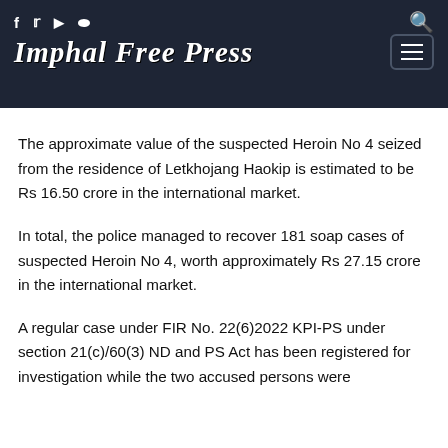Imphal Free Press
The approximate value of the suspected Heroin No 4 seized from the residence of Letkhojang Haokip is estimated to be Rs 16.50 crore in the international market.
In total, the police managed to recover 181 soap cases of suspected Heroin No 4, worth approximately Rs 27.15 crore in the international market.
A regular case under FIR No. 22(6)2022 KPI-PS under section 21(c)/60(3) ND and PS Act has been registered for investigation while the two accused persons were